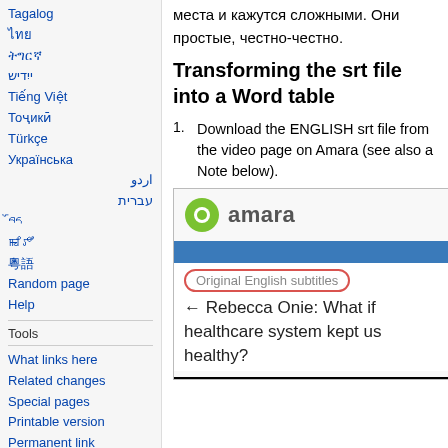Tagalog
ไทย
ትግርኛ
ייִדיש
Tiếng Việt
Тоҷикӣ
Türkçe
Українська
اردو
עברית
བོད
ꯃꯤꯇꯩ
粵語
Random page
Help
Tools
What links here
Related changes
Special pages
Printable version
Permanent link
Page information
места и кажутся сложными. Они простые, честно-честно.
Transforming the srt file into a Word table
Download the ENGLISH srt file from the video page on Amara (see also a Note below).
[Figure (screenshot): Screenshot of the Amara website showing the logo (green circle with 'amara' text), a blue navigation bar, a red-bordered button labeled 'Original English subtitles', and text reading '← Rebecca Onie: What if the healthcare system kept us healthy?']